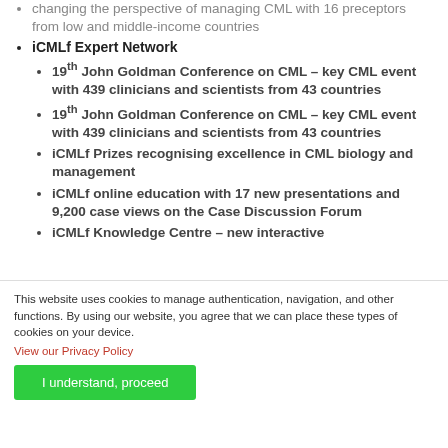changing the perspective of managing CML with 16 preceptors from low and middle-income countries
iCMLf Expert Network
19th John Goldman Conference on CML – key CML event with 439 clinicians and scientists from 43 countries
19th John Goldman Conference on CML – key CML event with 439 clinicians and scientists from 43 countries
iCMLf Prizes recognising excellence in CML biology and management
iCMLf online education with 17 new presentations and 9,200 case views on the Case Discussion Forum
iCMLf Knowledge Centre – new interactive
This website uses cookies to manage authentication, navigation, and other functions. By using our website, you agree that we can place these types of cookies on your device.
View our Privacy Policy
I understand, proceed